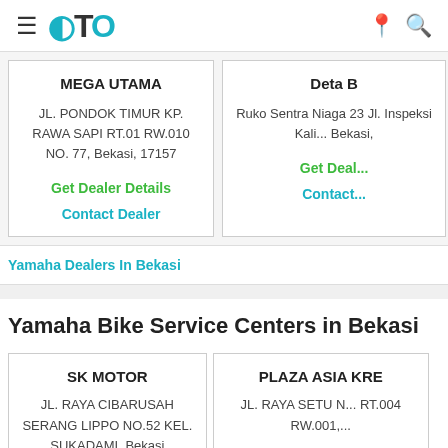≡ OTO
MEGA UTAMA
JL. PONDOK TIMUR KP. RAWA SAPI RT.01 RW.010 NO. 77, Bekasi, 17157
Get Dealer Details
Contact Dealer
Deta B
Ruko Sentra Niaga 23 Jl. Inspeksi Kali... Bekasi,
Get Deal...
Contact...
Yamaha Dealers In Bekasi
Yamaha Bike Service Centers in Bekasi
SK MOTOR
JL. RAYA CIBARUSAH SERANG LIPPO NO.52 KEL. SUKADAMI, Bekasi
PLAZA ASIA KRE...
JL. RAYA SETU N... RT.004 RW.001,...